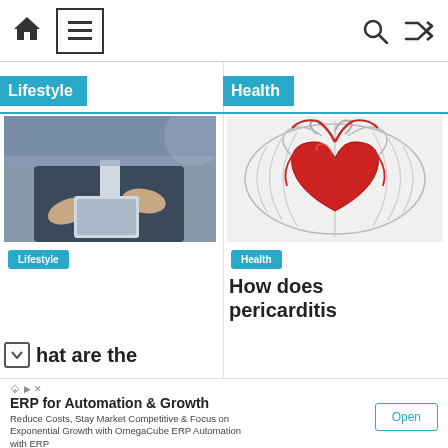Navigation bar with home, menu, search, and shuffle icons
Lifestyle
[Figure (photo): Business person in suit holding a tablet device, close-up of hands]
Lifestyle
hat are the
Health
[Figure (illustration): Medical illustration of a human heart highlighted in red with anatomical chest/rib structure in grey]
Health
How does pericarditis
ERP for Automation & Growth
Reduce Costs, Stay Market Competitive & Focus on Exponential Growth with OmegaCube ERP Automation with ERP
Open